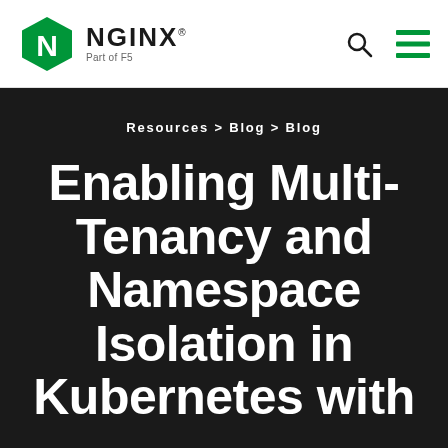[Figure (logo): NGINX logo: green hexagon with white N, accompanied by NGINX wordmark and 'Part of F5' tagline]
NGINX – Part of F5
Resources > Blog > Blog
Enabling Multi-Tenancy and Namespace Isolation in Kubernetes with